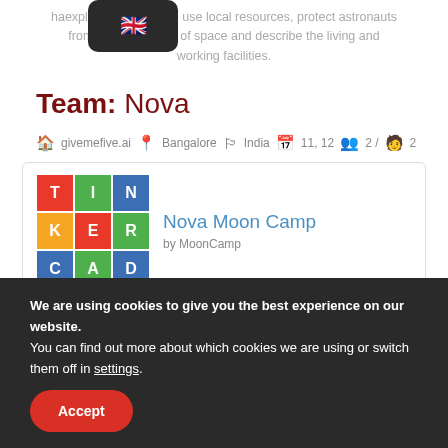have explain how they will use local resources, protect astronauts from the dangerous of space and describe the living and working facilities.
Team: Nova
givemefive.ai  Bangalore  India  11, 12  2 / 2
[Figure (logo): Tinkercad colored grid logo with letters T, I, N, K, E, R, C, A, D in red, green, blue, orange squares]
Nova Moon Camp by MoonCamp
We are using cookies to give you the best experience on our website.
You can find out more about which cookies we are using or switch them off in settings.
Accept